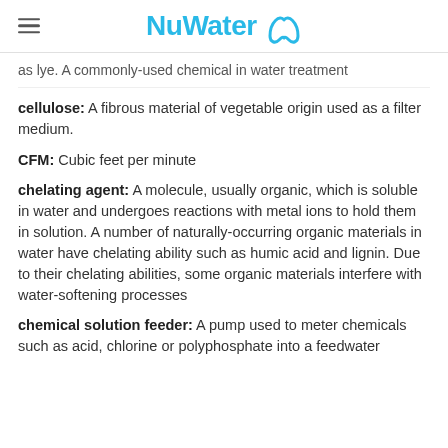NuWater
as lye. A commonly-used chemical in water treatment
cellulose: A fibrous material of vegetable origin used as a filter medium.
CFM: Cubic feet per minute
chelating agent: A molecule, usually organic, which is soluble in water and undergoes reactions with metal ions to hold them in solution. A number of naturally-occurring organic materials in water have chelating ability such as humic acid and lignin. Due to their chelating abilities, some organic materials interfere with water-softening processes
chemical solution feeder: A pump used to meter chemicals such as acid, chlorine or polyphosphate into a feedwater